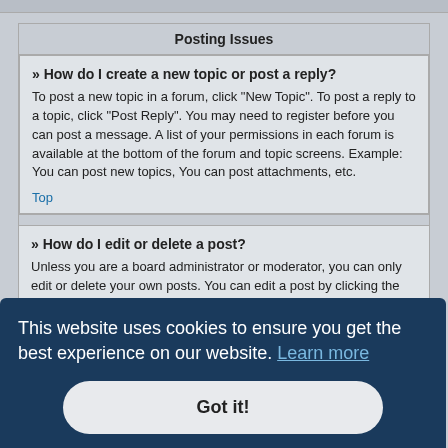Posting Issues
» How do I create a new topic or post a reply?
To post a new topic in a forum, click "New Topic". To post a reply to a topic, click "Post Reply". You may need to register before you can post a message. A list of your permissions in each forum is available at the bottom of the forum and topic screens. Example: You can post new topics, You can post attachments, etc.
Top
» How do I edit or delete a post?
Unless you are a board administrator or moderator, you can only edit or delete your own posts. You can edit a post by clicking the edit button for the relevant post, sometimes for only a limited time
This website uses cookies to ensure you get the best experience on our website. Learn more
Got it!